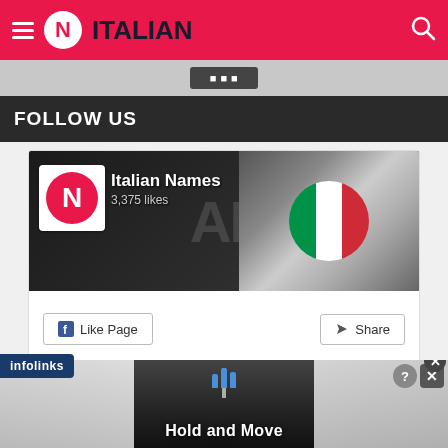ITALIAN NAMES
FOLLOW US
[Figure (screenshot): Italian Names Facebook page widget showing profile logo, 3,375 likes, cover image with pregnancy belly painted with Italian flag colors, Like Page and Share buttons]
[Figure (screenshot): MyHeritage advertisement with orange logo and headline 'Discover More About Your Family's Past']
[Figure (screenshot): Bottom overlay advertisement with road/navigation imagery, bar chart icon, and 'Hold and Move' text, with infolinks badge and close/X buttons]